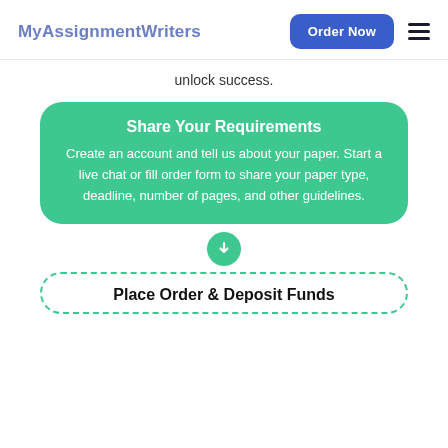MyAssignmentWriters
unlock success.
Share Your Requirements
Create an account and tell us about your paper. Start a live chat or fill order form to share your paper type, deadline, number of pages, and other guidelines.
Place Order & Deposit Funds